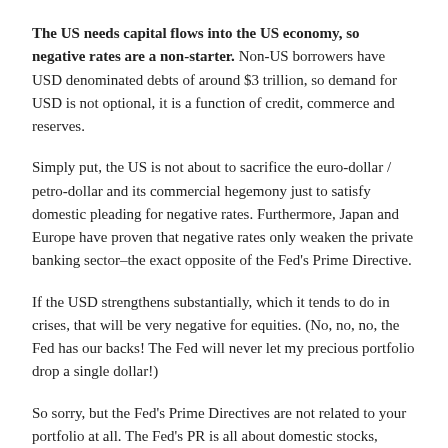The US needs capital flows into the US economy, so negative rates are a non-starter. Non-US borrowers have USD denominated debts of around $3 trillion, so demand for USD is not optional, it is a function of credit, commerce and reserves.
Simply put, the US is not about to sacrifice the euro-dollar / petro-dollar and its commercial hegemony just to satisfy domestic pleading for negative rates. Furthermore, Japan and Europe have proven that negative rates only weaken the private banking sector–the exact opposite of the Fed's Prime Directive.
If the USD strengthens substantially, which it tends to do in crises, that will be very negative for equities. (No, no, no, the Fed has our backs! The Fed will never let my precious portfolio drop a single dollar!)
So sorry, but the Fed's Prime Directives are not related to your portfolio at all. The Fed's PR is all about domestic stocks, implicitly or explicitly, but when push comes to shove, your portfolio will be sacrificed without any hesitation to protect private banking and USD hegemony. The empire gets first, and only the tragically misguided believe US stocks